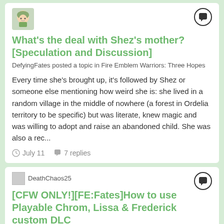[Figure (illustration): Anime-style avatar of a character in green uniform, top-left of first card]
What's the deal with Shez's mother? [Speculation and Discussion]
DefyingFates posted a topic in Fire Emblem Warriors: Three Hopes
Every time she's brought up, it's followed by Shez or someone else mentioning how weird she is: she lived in a random village in the middle of nowhere (a forest in Ordelia territory to be specific) but was literate, knew magic and was willing to adopt and raise an abandoned child. She was also a rec...
July 11   7 replies
DeathChaos25
[CFW ONLY!][FE:Fates]How to use Playable Chrom, Lissa & Frederick custom DLC
DeathChaos25 posted a topic in Fan Projects
First of all, this is a custom built DLC by myself, meaning, THIS IS